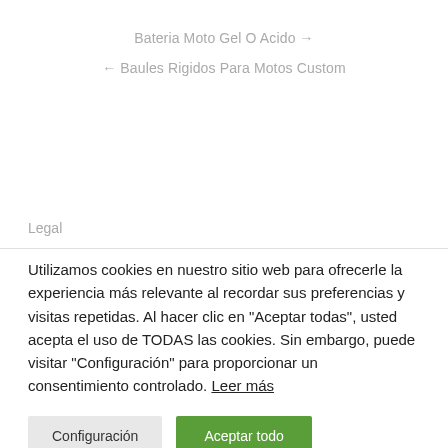Bateria Moto Gel O Acido →
← Baules Rigidos Para Motos Custom
Legal
Utilizamos cookies en nuestro sitio web para ofrecerle la experiencia más relevante al recordar sus preferencias y visitas repetidas. Al hacer clic en "Aceptar todas", usted acepta el uso de TODAS las cookies. Sin embargo, puede visitar "Configuración" para proporcionar un consentimiento controlado. Leer más
Configuración
Aceptar todo